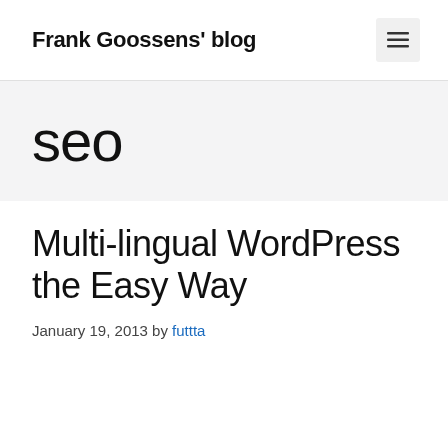Frank Goossens' blog
seo
Multi-lingual WordPress the Easy Way
January 19, 2013 by futtta